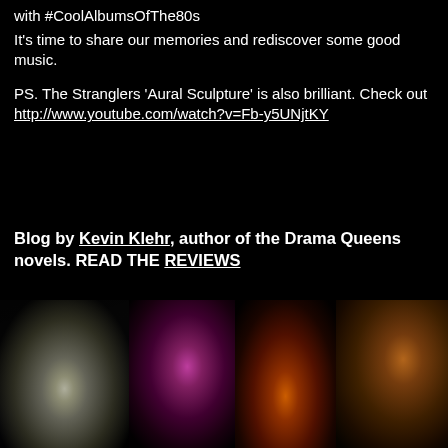with #CoolAlbumsOfThe80s
It's time to share our memories and rediscover some good music.
PS. The Stranglers 'Aural Sculpture' is also brilliant. Check out http://www.youtube.com/watch?v=Fb-y5UNjtKY
Blog by Kevin Klehr, author of the Drama Queens novels. READ THE REVIEWS
[Figure (photo): Four-panel composite image: young man's face (left), two fantasy/dark figures in hoods with glowing pink and orange lights (center), and an older bald man's face (right). Dark dramatic lighting throughout.]